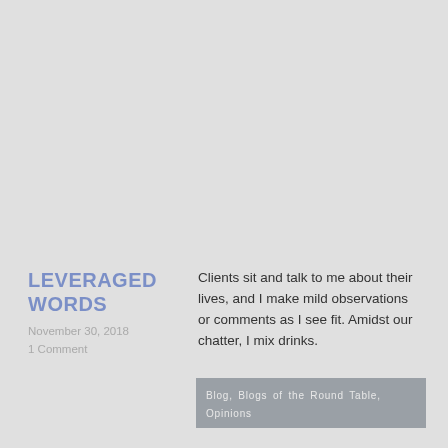LEVERAGED WORDS
November 30, 2018
1 Comment
Clients sit and talk to me about their lives, and I make mild observations or comments as I see fit. Amidst our chatter, I mix drinks.
Blog, Blogs of the Round Table, Opinions